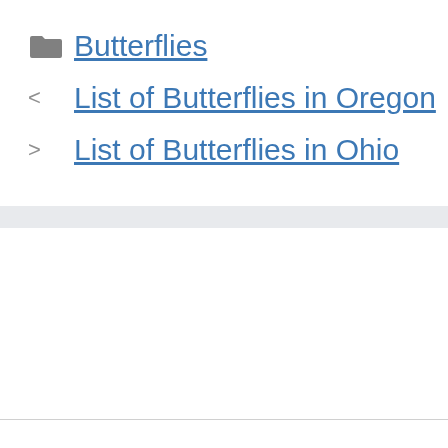Butterflies
List of Butterflies in Oregon
List of Butterflies in Ohio